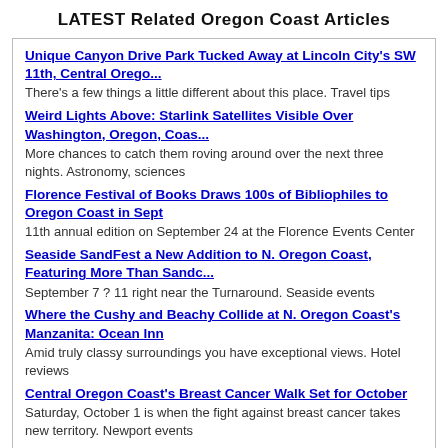LATEST Related Oregon Coast Articles
Unique Canyon Drive Park Tucked Away at Lincoln City's SW 11th, Central Orego...
There's a few things a little different about this place. Travel tips
Weird Lights Above: Starlink Satellites Visible Over Washington, Oregon, Coas...
More chances to catch them roving around over the next three nights. Astronomy, sciences
Florence Festival of Books Draws 100s of Bibliophiles to Oregon Coast in Sept
11th annual edition on September 24 at the Florence Events Center
Seaside SandFest a New Addition to N. Oregon Coast, Featuring More Than Sandc...
September 7 ? 11 right near the Turnaround. Seaside events
Where the Cushy and Beachy Collide at N. Oregon Coast's Manzanita: Ocean Inn
Amid truly classy surroundings you have exceptional views. Hotel reviews
Central Oregon Coast's Breast Cancer Walk Set for October
Saturday, October 1 is when the fight against breast cancer takes new territory. Newport events
Moderate Chances of Aurora / Northern Lights Over Washington / Oregon Coast. ...
Friday may be your best chance of viewing on the coastlines
Saturn Brightens, Jupiter a Monster, Still Some Meteors Above Oregon Coast, W...
Delights in the night skies are numerous, including Saturn in opposition